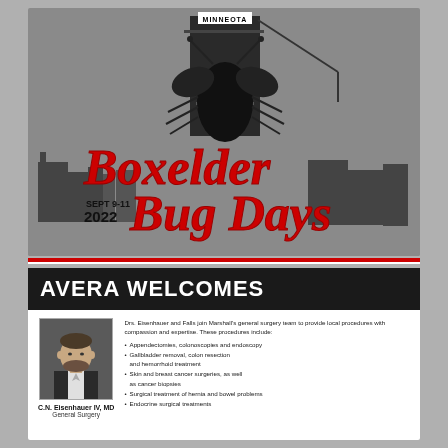[Figure (logo): Boxelder Bug Days event logo with Minneota text at top, silhouette skyline with bug graphic, bold red script text reading 'Boxelder Bug Days', SEPT 9-11 2022 in black text on gray background]
AVERA WELCOMES
[Figure (photo): Headshot of C.N. Eisenhauer IV, MD, a man in a suit with beard]
Drs. Eisenhauer and Falls join Marshall's general surgery team to provide local procedures with compassion and expertise. These procedures include:
Appendectomies, colonoscopies and endoscopy
Gallbladder removal, colon resection and hemorrhoid treatment
Skin and breast cancer surgeries, as well as cancer biopsies
Surgical treatment of hernia and bowel problems
Endocrine surgical treatments
C.N. Eisenhauer IV, MD
General Surgery